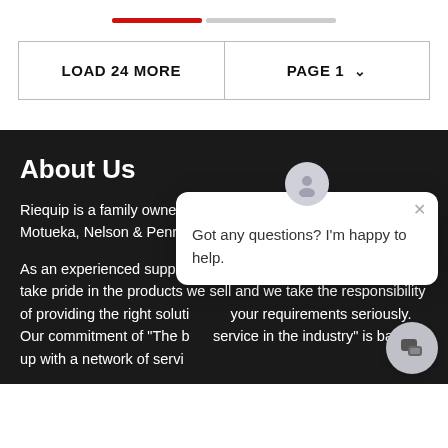[Figure (screenshot): Pagination progress bar with red filled portion and gray empty portion]
| LOAD 24 MORE | PAGE 1 ∨ |
About Us
Riequip is a family owned and operated business based in Motueka, Nelson & Penro...
As an experienced supplier of equipment in New Zealand, we take pride in the products we sell and we take the responsibility of providing the right solution for your requirements seriously. Our commitment of "The b... service in the industry" is backed up with a network of service...